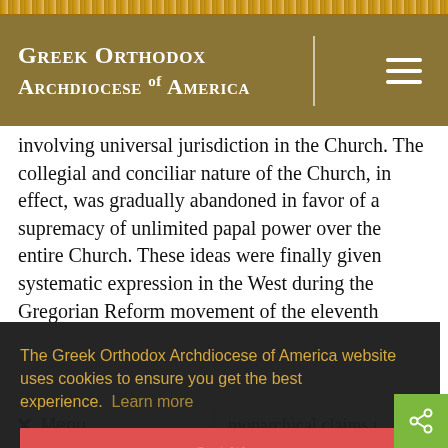[Figure (logo): Greek Orthodox Archdiocese of America website header with gold/olive background, white text title and hamburger menu icon]
involving universal jurisdiction in the Church. The collegial and conciliar nature of the Church, in effect, was gradually abandoned in favor of a supremacy of unlimited papal power over the entire Church. These ideas were finally given systematic expression in the West during the Gregorian Reform movement of the eleventh
The Greek Orthodox Archdiocese of America website uses cookies to ensure you get the best experience. Learn more
Got it!
✕ Menu
monarchical claims t